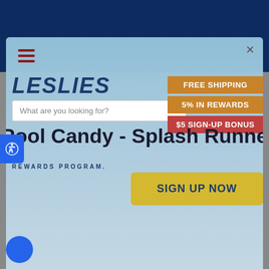[Figure (screenshot): Screenshot of Leslie's pool supply website with a modal popup overlay showing a rewards program sign-up. The modal contains the Leslie's logo, a search bar, free shipping and rewards badges, a product title reading 'Pool Candy - Splash Runner Moto', a rewards program section, and a yellow 'SIGN UP NOW' button. There is a blue accessibility button on the left side. The background shows a dark navy header and gray page body.]